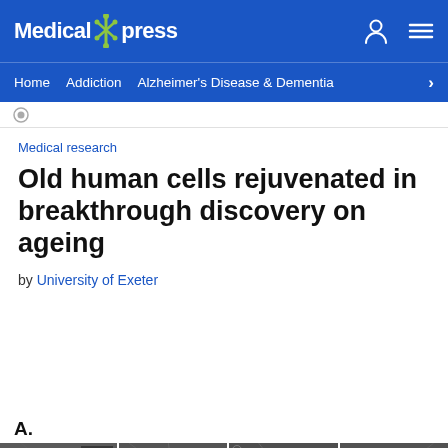Medical Xpress
Home  Addiction  Alzheimer's Disease & Dementia  >
Medical research
Old human cells rejuvenated in breakthrough discovery on ageing
by University of Exeter
A.
[Figure (photo): Four microscopy images showing cells at 20µM scale, arranged in a horizontal strip]